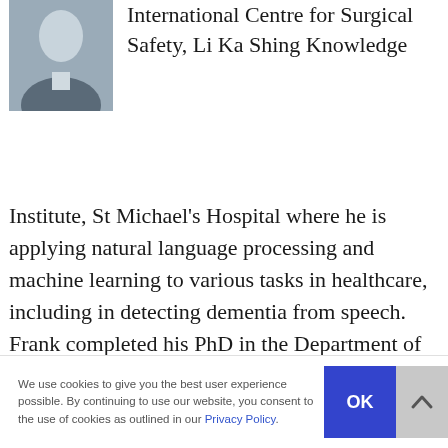[Figure (photo): Headshot of a young man in a grey suit and white shirt, photographed against a light background.]
International Centre for Surgical Safety, Li Ka Shing Knowledge Institute, St Michael's Hospital where he is applying natural language processing and machine learning to various tasks in healthcare, including in detecting dementia from speech. Frank completed his PhD in the Department of Computer Science at the University of Toronto and his Master's in Electrical and Computer
We use cookies to give you the best user experience possible. By continuing to use our website, you consent to the use of cookies as outlined in our Privacy Policy.